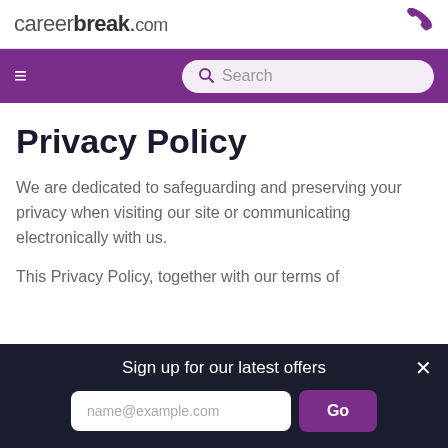careerbreak.com
Search
Privacy Policy
We are dedicated to safeguarding and preserving your privacy when visiting our site or communicating electronically with us.
This Privacy Policy, together with our terms of
Sign up for our latest offers
name@example.com
Go